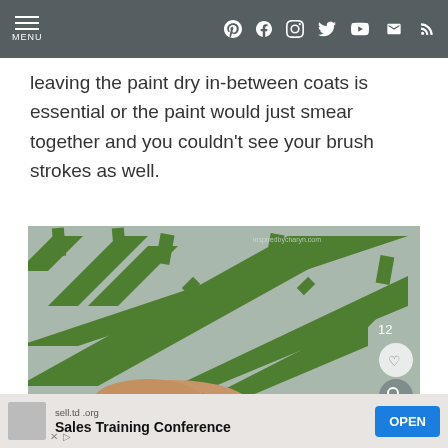MENU | social icons (Pinterest, Facebook, Instagram, Twitter, YouTube, Email, RSS)
leaving the paint dry in-between coats is essential or the paint would just smear together and you couldn't see your brush strokes as well.
[Figure (photo): A person's hand painting a wall with a brush, with green masking tape creating diagonal geometric pattern on the wall. Watermark: inspiredbycharyn.com]
sell.td.org Sales Training Conference OPEN